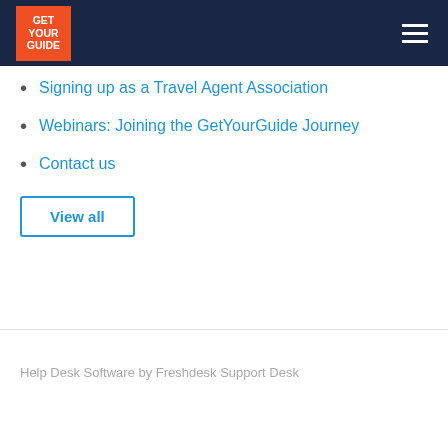GET YOUR GUIDE
Signing up as a Travel Agent Association
Webinars: Joining the GetYourGuide Journey
Contact us
View all
Help Desk Software by Freshdesk Support Desk